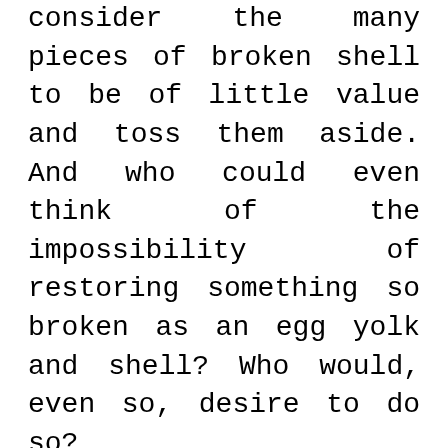consider the many pieces of broken shell to be of little value and toss them aside. And who could even think of the impossibility of restoring something so broken as an egg yolk and shell? Who would, even so, desire to do so?
I suspect you know where I am going with this; we are the ones lying at the foot of the wall, and our brokenness, our damage comes in many levels of severity. Cracks and fractures, chips and pieces, and altogether shattered. My guess is that most of us desire to hide any brokenness of our lives, almost in shame. We seek to place these in the back closet where they are